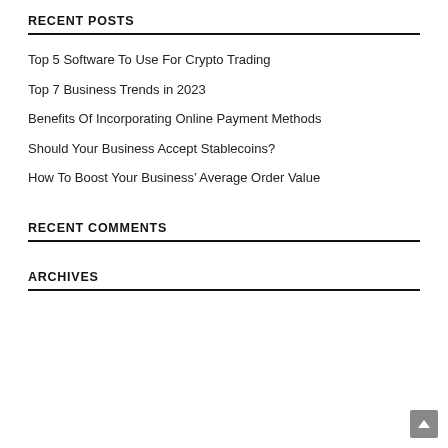RECENT POSTS
Top 5 Software To Use For Crypto Trading
Top 7 Business Trends in 2023
Benefits Of Incorporating Online Payment Methods
Should Your Business Accept Stablecoins?
How To Boost Your Business’ Average Order Value
RECENT COMMENTS
ARCHIVES